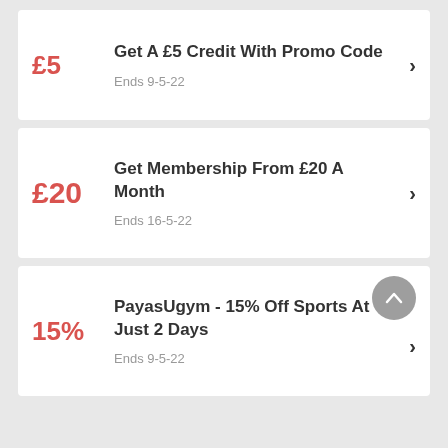£5 — Get A £5 Credit With Promo Code — Ends 9-5-22
£20 — Get Membership From £20 A Month — Ends 16-5-22
15% — PayasUgym - 15% Off Sports At Just 2 Days — Ends 9-5-22